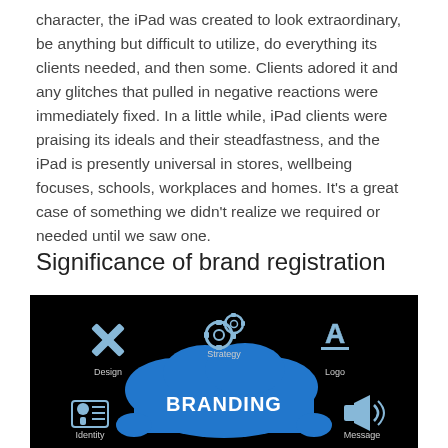character, the iPad was created to look extraordinary, be anything but difficult to utilize, do everything its clients needed, and then some. Clients adored it and any glitches that pulled in negative reactions were immediately fixed. In a little while, iPad clients were praising its ideals and their steadfastness, and the iPad is presently universal in stores, wellbeing focuses, schools, workplaces and homes. It's a great case of something we didn't realize we required or needed until we saw one.
Significance of brand registration
[Figure (infographic): Branding infographic on black background showing a blue cloud with 'BRANDING' text in the center, surrounded by icons labeled: Design (cross/scissors icon), Strategy (gears icon), Logo (letter A icon), Identity (person/ID card icon), Message (megaphone icon).]